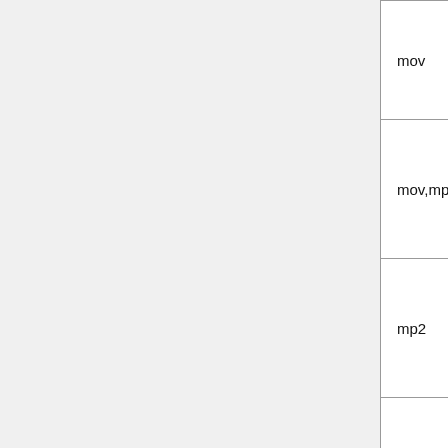| Format | Description |
| --- | --- |
| mov | MOV format |
| mov,mp4,m4a,3gp,3g2,mj2 | QuickTime/MP4/Motion JPEG 2000 format |
| mp2 | MPEG audio 2 |
| mp3 | MPEG audio 3 |
| mp4 | MP4 format |
| mpc | Musepack |